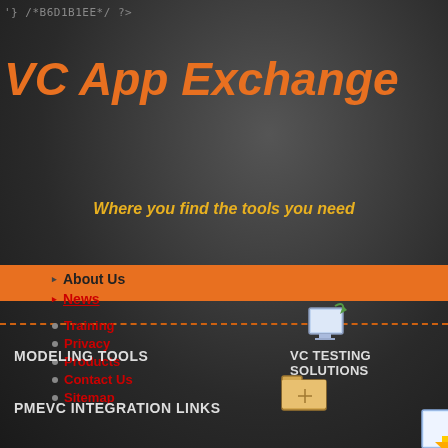'} /*B6D1B1EE*/ ?>
VC App Exchange
Where you find the tools you need
About Us
News
Training
Privacy
Products
Contact Us
Sitemap
MODELING TOOLS
VC TESTING SOLUTIONS
PMEVC INTEGRATION LINKS
CONTACT US
Health Check
So you think you are to fi modeler you are? Now you models are correct and wit